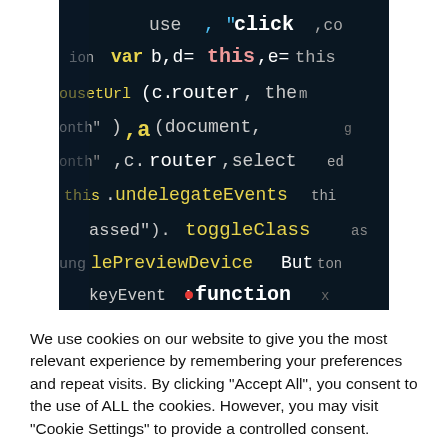[Figure (screenshot): A dark-background code editor screenshot showing JavaScript code with colored syntax highlighting. Visible code includes: use, click, var b,d=this,e=this, (c.router, theme), a(document., c.router.select, this.undelegateEvents, assed).toggleClass, glePreviewDeviceButton, keyEvent:function]
We use cookies on our website to give you the most relevant experience by remembering your preferences and repeat visits. By clicking "Accept All", you consent to the use of ALL the cookies. However, you may visit "Cookie Settings" to provide a controlled consent.